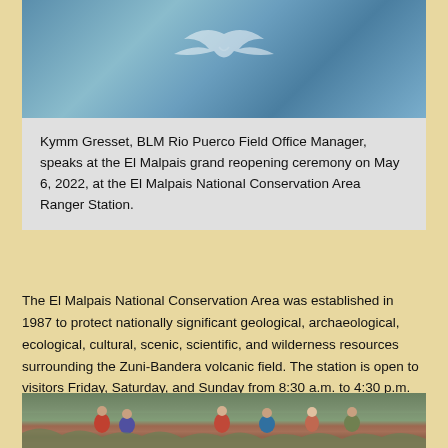[Figure (photo): Close-up of a blue BLM flag with a white bird/symbol on it, held or displayed outdoors]
Kymm Gresset, BLM Rio Puerco Field Office Manager, speaks at the El Malpais grand reopening ceremony on May 6, 2022, at the El Malpais National Conservation Area Ranger Station.
The El Malpais National Conservation Area was established in 1987 to protect nationally significant geological, archaeological, ecological, cultural, scenic, scientific, and wilderness resources surrounding the Zuni-Bandera volcanic field. The station is open to visitors Friday, Saturday, and Sunday from 8:30 a.m. to 4:30 p.m.
[Figure (photo): Group of people standing outdoors in a desert/scrubland landscape at the El Malpais National Conservation Area]